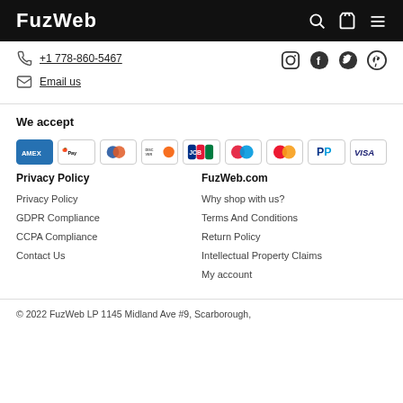FuzWeb
+1 778-860-5467
Email us
We accept
[Figure (infographic): Payment method icons: American Express, Apple Pay, Diners Club, Discover, JCB, Maestro, Mastercard, PayPal, Visa]
Privacy Policy
FuzWeb.com
Privacy Policy
GDPR Compliance
CCPA Compliance
Contact Us
Why shop with us?
Terms And Conditions
Return Policy
Intellectual Property Claims
My account
© 2022 FuzWeb LP 1145 Midland Ave #9, Scarborough,